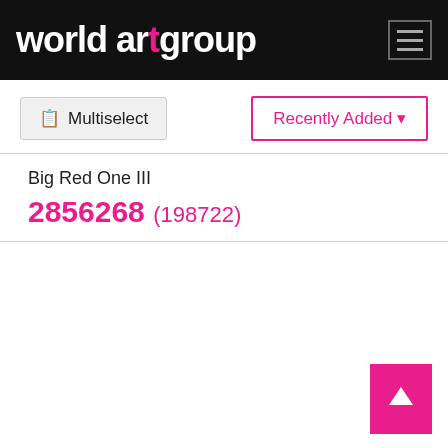world art group
Multiselect
Recently Added
Big Red One III
2856268 (198722)
[Figure (screenshot): Empty white content area for second product image]
Big Red One II
2856267 (198721)